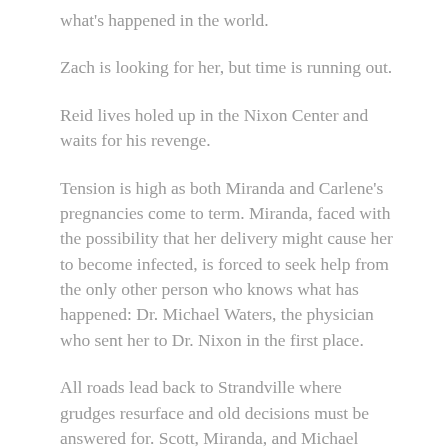what's happened in the world.
Zach is looking for her, but time is running out.
Reid lives holed up in the Nixon Center and waits for his revenge.
Tension is high as both Miranda and Carlene's pregnancies come to term. Miranda, faced with the possibility that her delivery might cause her to become infected, is forced to seek help from the only other person who knows what has happened: Dr. Michael Waters, the physician who sent her to Dr. Nixon in the first place.
All roads lead back to Strandville where grudges resurface and old decisions must be answered for. Scott, Miranda, and Michael return to the center to face-